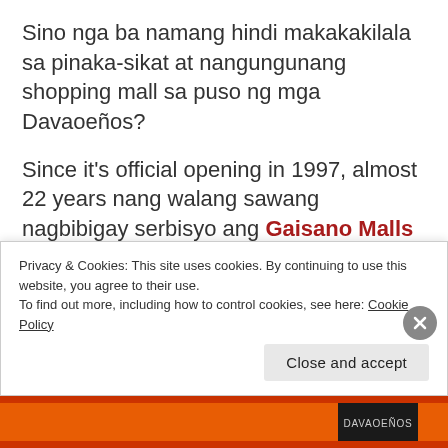Sino nga ba namang hindi makakakilala sa pinaka-sikat at nangungunang shopping mall sa puso ng mga Davaoeños?
Since it's official opening in 1997, almost 22 years nang walang sawang nagbibigay serbisyo ang Gaisano Malls sa Davao community. Parami nang parami ang mga mapagpipiliang shopping stores, fast food and restaurants, and leisure activities na matatagpuan dito, kaya't talaga namang ito
Privacy & Cookies: This site uses cookies. By continuing to use this website, you agree to their use. To find out more, including how to control cookies, see here: Cookie Policy
Close and accept